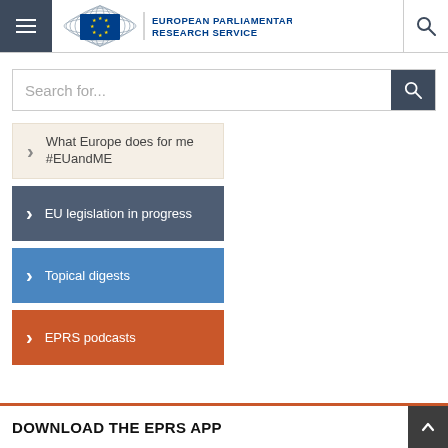[Figure (logo): European Parliamentary Research Service logo with EP emblem and text]
Search for...
What Europe does for me #EUandME
EU legislation in progress
Topical digests
EPRS podcasts
DOWNLOAD THE EPRS APP